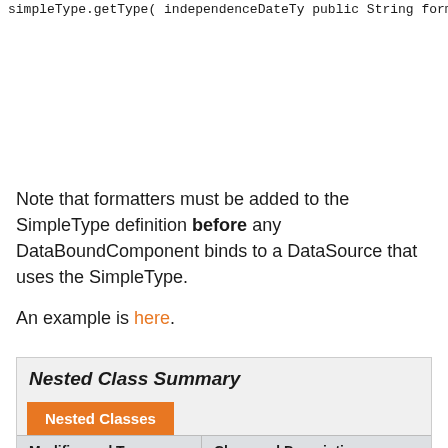simpleType.getType( independenceDateType
    public String format(Object value, Da
        if (value == null) return null;
        return "<i>" + (((java.util.Date) v
    }
});
Note that formatters must be added to the SimpleType definition before any DataBoundComponent binds to a DataSource that uses the SimpleType.
An example is here.
| Nested Class Summary |
| --- |
| Nested Classes |
| Modifier and Type | Class and Description |
| static interface | SimpleType.SimpleTypeN... |
Nested Class Summary
Nested Classes
| Modifier and Type | Class and Description |
| --- | --- |
| static interface | SimpleType.SimpleTypeN... |